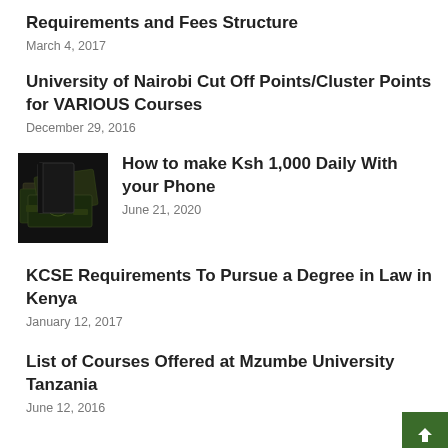Requirements and Fees Structure
March 4, 2017
University of Nairobi Cut Off Points/Cluster Points for VARIOUS Courses
December 29, 2016
[Figure (photo): Stack of money/banknotes on a dark background]
How to make Ksh 1,000 Daily With your Phone
June 21, 2020
KCSE Requirements To Pursue a Degree in Law in Kenya
January 12, 2017
List of Courses Offered at Mzumbe University Tanzania
June 12, 2016